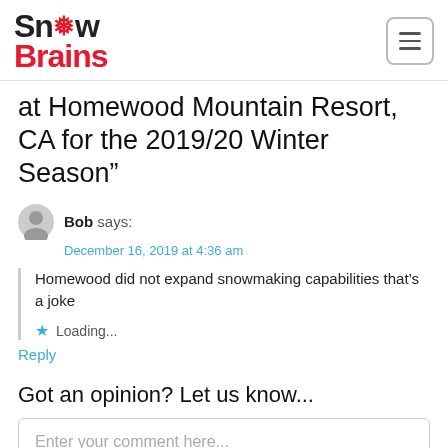SnowBrains
at Homewood Mountain Resort, CA for the 2019/20 Winter Season”
Bob says:
December 16, 2019 at 4:36 am
Homewood did not expand snowmaking capabilities that’s a joke
Loading...
Reply
Got an opinion? Let us know...
Enter your comment here...